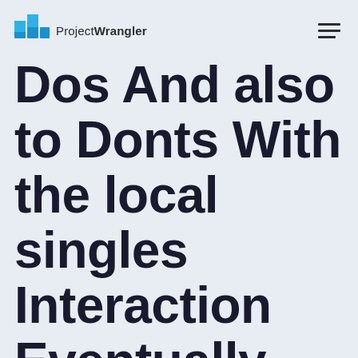ProjectWrangler
Dos And also to Donts With the local singles Interaction Eventually Splitting up